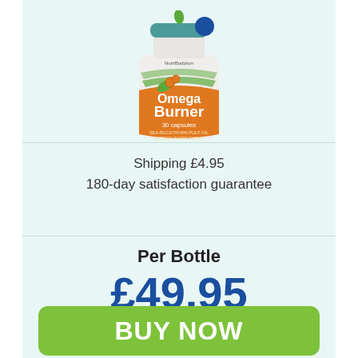[Figure (photo): Omega Burner supplement bottle — NutriBodytion brand, 30 capsules, Sea-Buckthorn Pulp Oil Dietary Supplement, white bottle with green/orange label showing sea-buckthorn berries]
Shipping £4.95
180-day satisfaction guarantee
Per Bottle
£49.95
BUY NOW